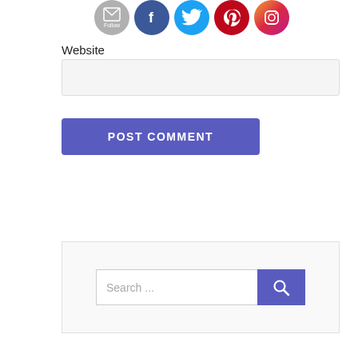[Figure (illustration): Row of social media icons: email/follow (gray), Facebook (blue), Twitter (cyan), Pinterest (red), Instagram (gradient purple-orange)]
Website
[Figure (screenshot): Website URL text input field with light gray background]
[Figure (screenshot): POST COMMENT button in purple/indigo color with white uppercase text]
[Figure (screenshot): Search widget box with a text input showing 'Search ...' placeholder and a purple search button with magnifying glass icon]